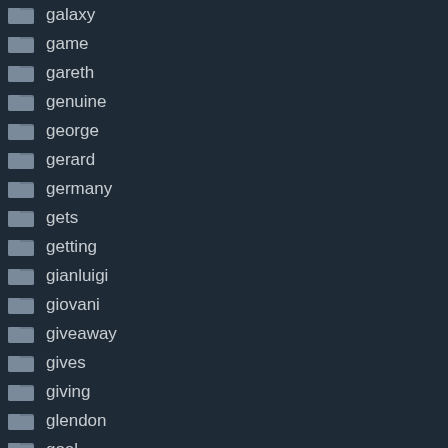galaxy
game
gareth
genuine
george
gerard
germany
gets
getting
gianluigi
giovani
giveaway
gives
giving
glendon
goal
goalie
goalkeeper